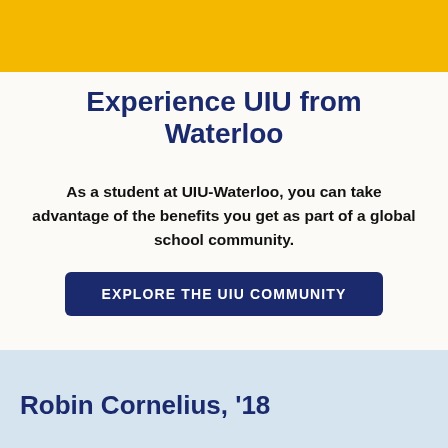Experience UIU from Waterloo
As a student at UIU-Waterloo, you can take advantage of the benefits you get as part of a global school community.
EXPLORE THE UIU COMMUNITY
Robin Cornelius, '18